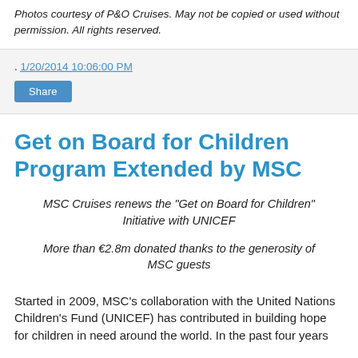Photos courtesy of P&O Cruises. May not be copied or used without permission. All rights reserved.
. 1/20/2014 10:06:00 PM
Share
Get on Board for Children Program Extended by MSC
MSC Cruises renews the "Get on Board for Children" Initiative with UNICEF
More than €2.8m donated thanks to the generosity of MSC guests
Started in 2009, MSC's collaboration with the United Nations Children's Fund (UNICEF) has contributed in building hope for children in need around the world. In the past four years